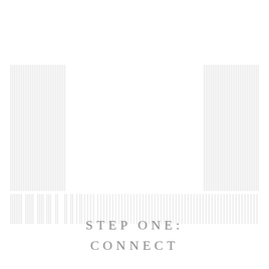[Figure (illustration): Decorative architectural illustration with vertical pillar/column lines in light gray arranged in a large rectangular frame shape, suggesting a building facade or monument. The lines are closely spaced and vary in height, creating a striped pattern.]
STEP ONE:
CONNECT